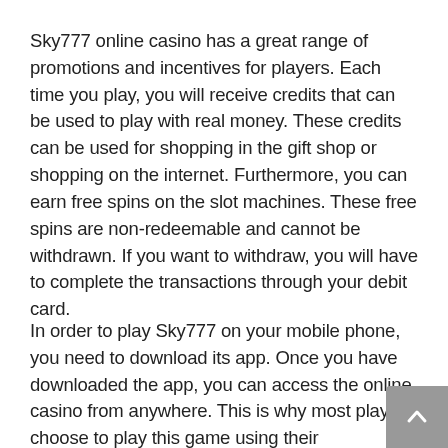Sky777 online casino has a great range of promotions and incentives for players. Each time you play, you will receive credits that can be used to play with real money. These credits can be used for shopping in the gift shop or shopping on the internet. Furthermore, you can earn free spins on the slot machines. These free spins are non-redeemable and cannot be withdrawn. If you want to withdraw, you will have to complete the transactions through your debit card.
In order to play Sky777 on your mobile phone, you need to download its app. Once you have downloaded the app, you can access the online casino from anywhere. This is why most players choose to play this game using their...